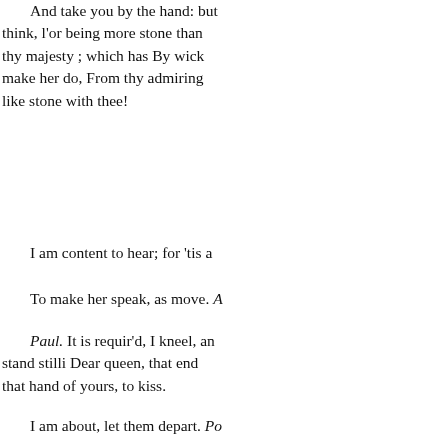And take you by the hand: but think, l'or being more stone than thy majesty ; which has By wick make her do, From thy admiring like stone with thee!
I am content to hear; for 'tis as
To make her speak, as move. A
Paul. It is requir'd, I kneel, and stand stilli Dear queen, that ende that hand of yours, to kiss.
I am about, let them depart. Pa
Leon. Proceed; The statue is b
Paul. Music ; 'awake her: strik descend; be stone no more: apon proach; Which sixteen winters ca summers, dry : scarce any joy I'll
Bequeath to death your numb him
(stirs : Pol. Dear my brother,
Dear life redeems you. -You n